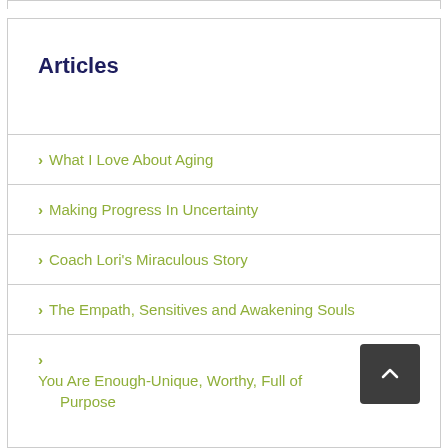Articles
What I Love About Aging
Making Progress In Uncertainty
Coach Lori's Miraculous Story
The Empath, Sensitives and Awakening Souls
You Are Enough-Unique, Worthy, Full of Purpose